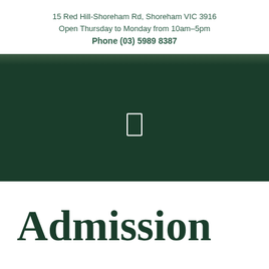15 Red Hill-Shoreham Rd, Shoreham VIC 3916
Open Thursday to Monday from 10am–5pm
Phone (03) 5989 8387
[Figure (photo): Dark green background image, likely a landscape or garden scene, with a small white rectangle (play button icon) in the center]
Admission